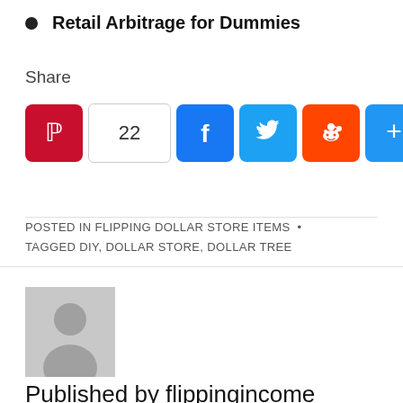Retail Arbitrage for Dummies
Share
[Figure (infographic): Social share buttons: Pinterest, count 22, Facebook, Twitter, Reddit, and a generic share button]
POSTED IN FLIPPING DOLLAR STORE ITEMS • TAGGED DIY, DOLLAR STORE, DOLLAR TREE
[Figure (photo): Generic user avatar placeholder (grey silhouette on grey background)]
Published by flippingincome